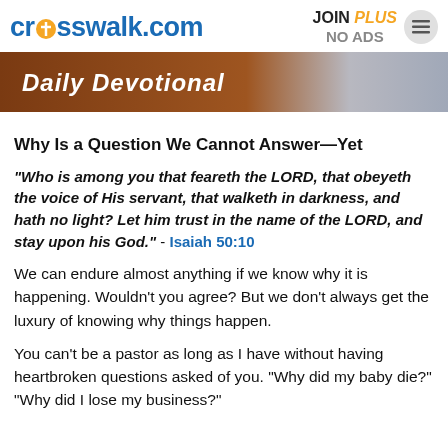crosswalk.com  JOIN PLUS NO ADS
[Figure (photo): Banner image showing 'Daily Devotional' text over a brown/warm background with a person partially visible on the right]
Why Is a Question We Cannot Answer—Yet
“Who is among you that feareth the LORD, that obeyeth the voice of His servant, that walketh in darkness, and hath no light? Let him trust in the name of the LORD, and stay upon his God.” - Isaiah 50:10
We can endure almost anything if we know why it is happening. Wouldn’t you agree? But we don’t always get the luxury of knowing why things happen.
You can’t be a pastor as long as I have without having heartbroken questions asked of you. “Why did my baby die?” “Why did I lose my business?”